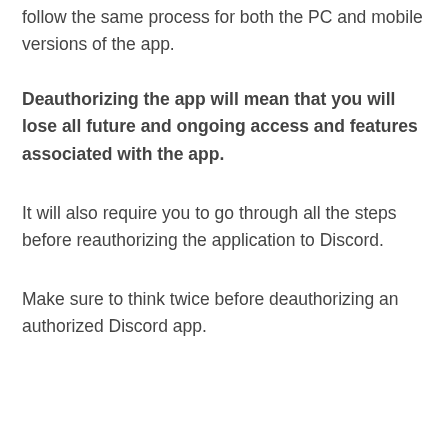follow the same process for both the PC and mobile versions of the app.
Deauthorizing the app will mean that you will lose all future and ongoing access and features associated with the app.
It will also require you to go through all the steps before reauthorizing the application to Discord.
Make sure to think twice before deauthorizing an authorized Discord app.